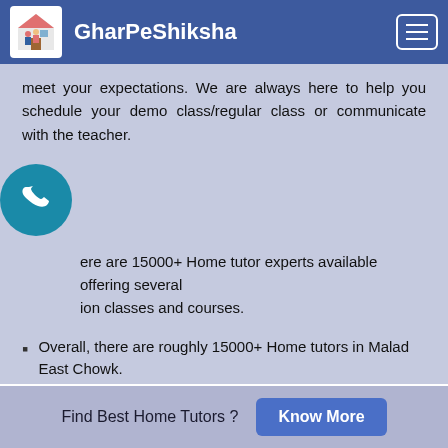GharPeShiksha
meet your expectations. We are always here to help you schedule your demo class/regular class or communicate with the teacher.
There are 15000+ Home tutor experts available offering several on classes and courses.
Overall, there are roughly 15000+ Home tutors in Malad East Chowk.
Some of the best Home tuition in Malad East Chowk is available in all localities.
Find Best Home Tutors ? Know More